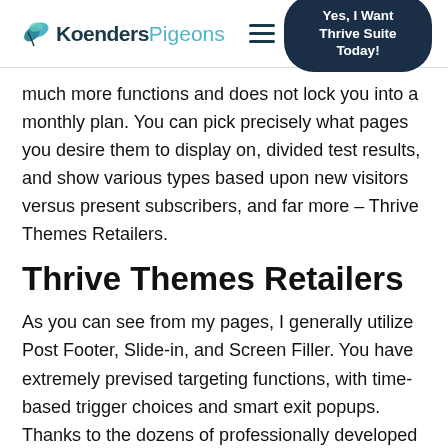KoendersPigeons — Yes, I Want Thrive Suite Today!
much more functions and does not lock you into a monthly plan. You can pick precisely what pages you desire them to display on, divided test results, and show various types based upon new visitors versus present subscribers, and far more – Thrive Themes Retailers.
Thrive Themes Retailers
As you can see from my pages, I generally utilize Post Footer, Slide-in, and Screen Filler. You have extremely prevised targeting functions, with time-based trigger choices and smart exit popups. Thanks to the dozens of professionally developed design templates you will never have to fret about